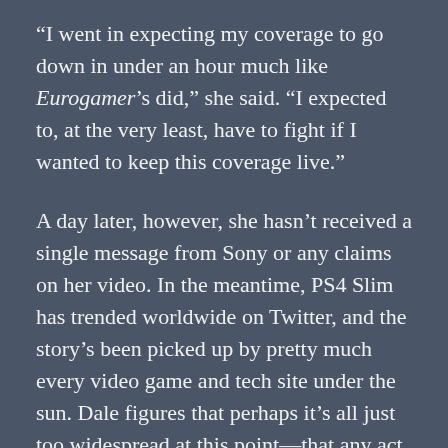“I went in expecting my coverage to go down in under an hour much like Eurogamer’s did,” she said. “I expected to, at the very least, have to fight if I wanted to keep this coverage live.”
A day later, however, she hasn’t received a single message from Sony or any claims on her video. In the meantime, PS4 Slim has trended worldwide on Twitter, and the story’s been picked up by pretty much every video game and tech site under the sun. Dale figures that perhaps it’s all just too widespread at this point—that any act on Sony’s part would be a case of too little, too late. “They haven’t asked me to take my coverage down or pulled the YouTube video yet, so I can only assume it’s